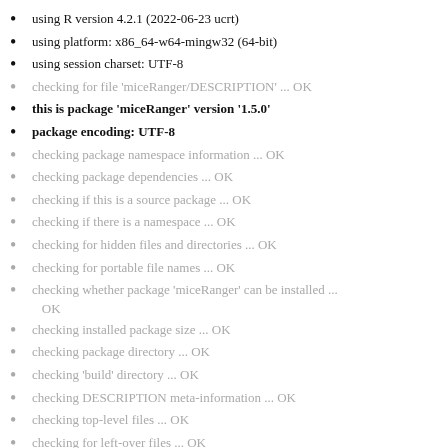using R version 4.2.1 (2022-06-23 ucrt)
using platform: x86_64-w64-mingw32 (64-bit)
using session charset: UTF-8
checking for file 'miceRanger/DESCRIPTION' ... OK
this is package 'miceRanger' version '1.5.0'
package encoding: UTF-8
checking package namespace information ... OK
checking package dependencies ... OK
checking if this is a source package ... OK
checking if there is a namespace ... OK
checking for hidden files and directories ... OK
checking for portable file names ... OK
checking whether package 'miceRanger' can be installed ... OK
checking installed package size ... OK
checking package directory ... OK
checking 'build' directory ... OK
checking DESCRIPTION meta-information ... OK
checking top-level files ... OK
checking for left-over files ... OK
checking index information ... OK
checking package subdirectories ... OK
checking R files for non-ASCII characters ... OK
checking R files for syntax errors ... OK